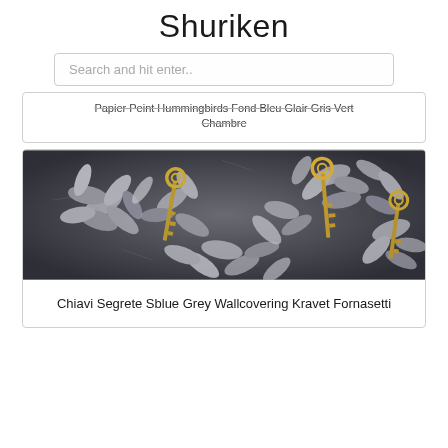Shuriken
Search and hit enter..
Papier Peint Hummingbirds Fond Bleu Glair Gris Vert Chambre
[Figure (photo): Wallcovering pattern with grey botanical leaves and golden ornate vintage keys scattered throughout the design]
Chiavi Segrete Sblue Grey Wallcovering Kravet Fornasetti